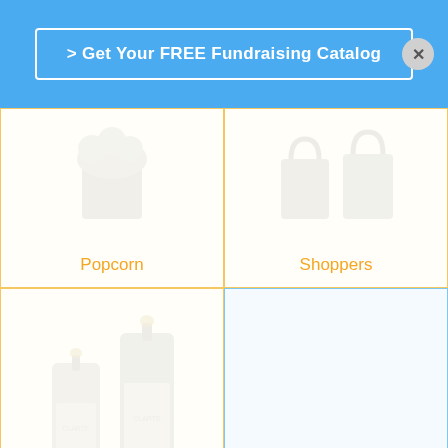> Get Your FREE Fundraising Catalog
[Figure (illustration): Grid of fundraising product categories: Popcorn, Shoppers, Candles, Scratch Cards, Discount Cards, Candy Bars]
Popcorn
Shoppers
Candles
Scratch Cards
Discount Cards
Candy Bars